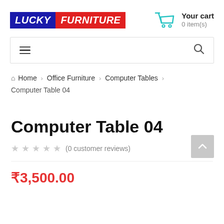[Figure (logo): Lucky Furniture logo with blue background for LUCKY and red background for FURNITURE, white italic bold text]
Your cart
0 item(s)
[Figure (other): Navigation bar with hamburger menu icon on left and search icon on right]
Home > Office Furniture > Computer Tables > Computer Table 04
Computer Table 04
★★★★★ (0 customer reviews)
₹3,500.00